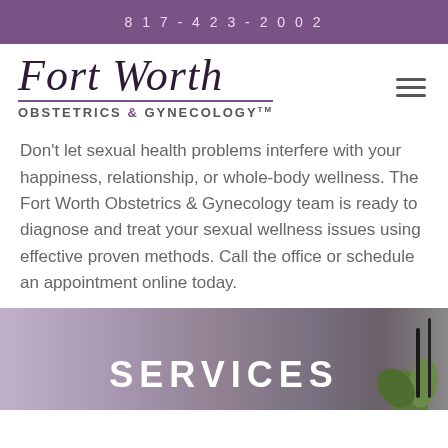817-423-2002
[Figure (logo): Fort Worth Obstetrics & Gynecology logo with cursive script and small caps]
Don't let sexual health problems interfere with your happiness, relationship, or whole-body wellness. The Fort Worth Obstetrics & Gynecology team is ready to diagnose and treat your sexual wellness issues using effective proven methods. Call the office or schedule an appointment online today.
SERVICES